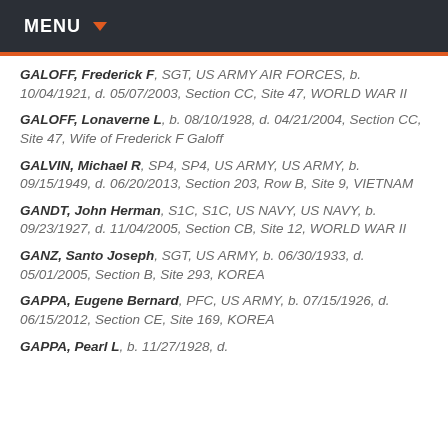MENU
GALOFF, Frederick F, SGT, US ARMY AIR FORCES, b. 10/04/1921, d. 05/07/2003, Section CC, Site 47, WORLD WAR II
GALOFF, Lonaverne L, b. 08/10/1928, d. 04/21/2004, Section CC, Site 47, Wife of Frederick F Galoff
GALVIN, Michael R, SP4, SP4, US ARMY, US ARMY, b. 09/15/1949, d. 06/20/2013, Section 203, Row B, Site 9, VIETNAM
GANDT, John Herman, S1C, S1C, US NAVY, US NAVY, b. 09/23/1927, d. 11/04/2005, Section CB, Site 12, WORLD WAR II
GANZ, Santo Joseph, SGT, US ARMY, b. 06/30/1933, d. 05/01/2005, Section B, Site 293, KOREA
GAPPA, Eugene Bernard, PFC, US ARMY, b. 07/15/1926, d. 06/15/2012, Section CE, Site 169, KOREA
GAPPA, Pearl L, b. 11/27/1928, d. ...